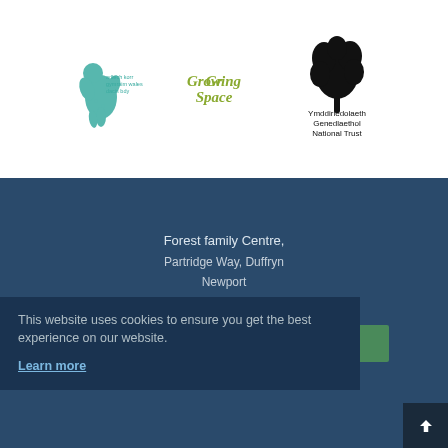[Figure (logo): Wales healthy body logo - teal dragon figure with Welsh text: adlech korr gymraim wales dacis bdy]
[Figure (logo): Growing Space logo in olive/green script text]
[Figure (logo): National Trust / Ymddiriedolaeth Genedlaethol logo with oak leaf symbol]
Forest family Centre,
Partridge Way, Duffryn
Newport
NP10 8WP
Tel: 01633 816774
Email: info@duffryncomlink.org.uk
This website uses cookies to ensure you get the best experience on our website.
Learn more